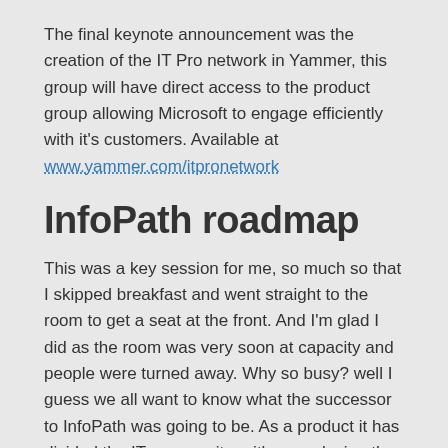The final keynote announcement was the creation of the IT Pro network in Yammer, this group will have direct access to the product group allowing Microsoft to engage efficiently with it's customers. Available at www.yammer.com/itpronetwork
InfoPath roadmap
This was a key session for me, so much so that I skipped breakfast and went straight to the room to get a seat at the front. And I'm glad I did as the room was very soon at capacity and people were turned away. Why so busy? well I guess we all want to know what the successor to InfoPath was going to be. As a product it has divided the IT community, with some loving the power that it brings to end users whilst others hate the issues it brings to areas such as the